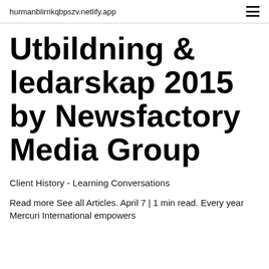hurmanblirrikqbpszv.netlify.app
Utbildning & ledarskap 2015 by Newsfactory Media Group
Client History - Learning Conversations
Read more See all Articles. April 7 | 1 min read. Every year Mercuri International empowers